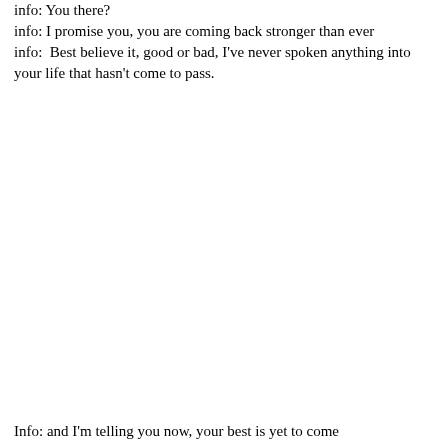info: You there?
info: I promise you, you are coming back stronger than ever
info:  Best believe it, good or bad, I've never spoken anything into your life that hasn't come to pass.
Info: and I'm telling you now, your best is yet to come